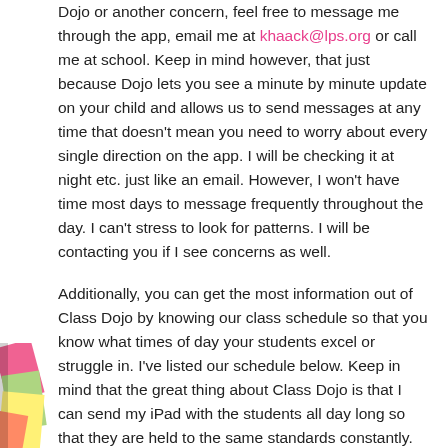Dojo or another concern, feel free to message me through the app, email me at khaack@lps.org or call me at school. Keep in mind however, that just because Dojo lets you see a minute by minute update on your child and allows us to send messages at any time that doesn't mean you need to worry about every single direction on the app. I will be checking it at night etc. just like an email. However, I won't have time most days to message frequently throughout the day. I can't stress to look for patterns. I will be contacting you if I see concerns as well.
Additionally, you can get the most information out of Class Dojo by knowing our class schedule so that you know what times of day your students excel or struggle in. I've listed our schedule below. Keep in mind that the great thing about Class Dojo is that I can send my iPad with the students all day long so that they are held to the same standards constantly. However, with that, keep in mind that there are times where Class Dojo is being run by other teachers. If you see that you are constantly seeing issues during specials or lunch for example when other teachers are running Dojo I might not know the details
[Figure (photo): Colorful sticky notes or paper in bottom-left corner]